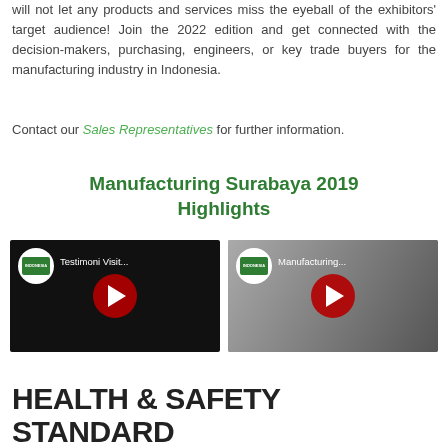will not let any products and services miss the eyeball of the exhibitors' target audience! Join the 2022 edition and get connected with the decision-makers, purchasing, engineers, or key trade buyers for the manufacturing industry in Indonesia.
Contact our Sales Representatives for further information.
Manufacturing Surabaya 2019 Highlights
[Figure (screenshot): YouTube video thumbnail - Testimoni Visit... with play button]
[Figure (screenshot): YouTube video thumbnail - Manufacturing... with play button]
HEALTH & SAFETY STANDARD